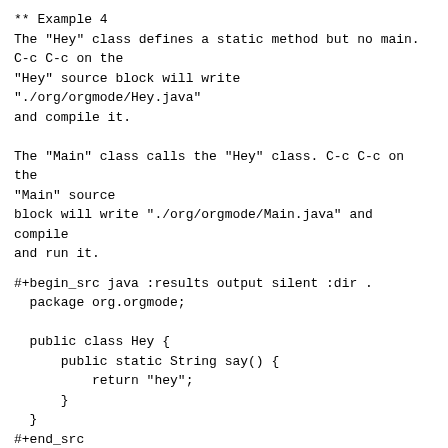** Example 4
The "Hey" class defines a static method but no main. C-c C-c on the
"Hey" source block will write "./org/orgmode/Hey.java"
and compile it.

The "Main" class calls the "Hey" class. C-c C-c on the
"Main" source
block will write "./org/orgmode/Main.java" and compile
and run it.
#+begin_src java :results output silent :dir .
  package org.orgmode;

  public class Hey {
      public static String say() {
          return "hey";
      }
  }
#+end_src
#+begin_src java :results output silent :dir .
  package org.orgmode;

  public class Main {
      public static void main(String[] args) {
          System.out.print(Hey.say());
      }
  }